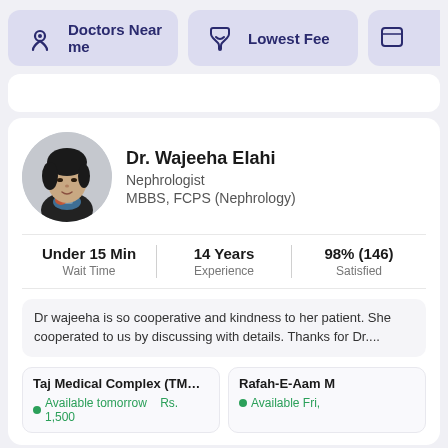Doctors Near me
Lowest Fee
Dr. Wajeeha Elahi
Nephrologist
MBBS, FCPS (Nephrology)
Under 15 Min
Wait Time
14 Years
Experience
98% (146)
Satisfied
Dr wajeeha is so cooperative and kindness to her patient. She cooperated to us by discussing with details. Thanks for Dr....
Taj Medical Complex (TMC) (Hamd...
Available tomorrow
Rs. 1,500
Rafah-E-Aam M
Available Fri,